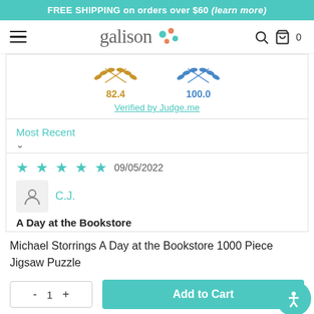FREE SHIPPING on orders over $60 (learn more)
[Figure (logo): Galison logo with colorful dots]
[Figure (infographic): Judge.me verification badges showing scores 82.4 and 100.0 with wheat/laurel icons, and Verified by Judge.me link]
Most Recent
09/05/2022
C.J.
A Day at the Bookstore
Michael Storrings A Day at the Bookstore 1000 Piece Jigsaw Puzzle